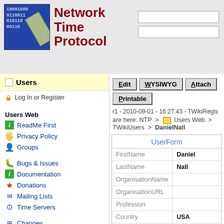Network Time Protocol
Users
Log In or Register
Users Web
ReadMe First
Privacy Policy
Groups
Bugs & Issues
Documentation
Donations
Mailing Lists
Time Servers
Changes
Index
Notify
Search
Statistics
r1 - 2010-09-01 - 16:27:43 - TWikiRegis
are here: NTP > Users Web > TWikiUsers > DanielNall
| Field | Value |
| --- | --- |
| FirstName | Daniel |
| LastName | Nall |
| OrganisationName |  |
| OrganisationURL |  |
| Profession |  |
| Country | USA |
| State |  |